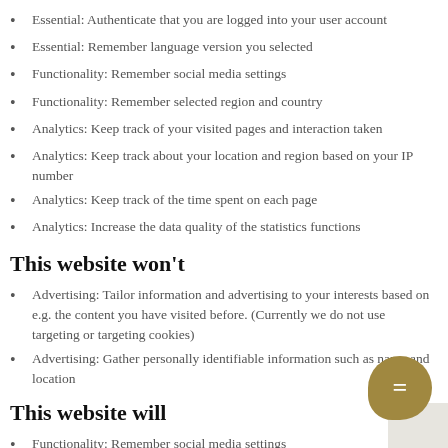Essential: Authenticate that you are logged into your user account
Essential: Remember language version you selected
Functionality: Remember social media settings
Functionality: Remember selected region and country
Analytics: Keep track of your visited pages and interaction taken
Analytics: Keep track about your location and region based on your IP number
Analytics: Keep track of the time spent on each page
Analytics: Increase the data quality of the statistics functions
This website won't
Advertising: Tailor information and advertising to your interests based on e.g. the content you have visited before. (Currently we do not use targeting or targeting cookies)
Advertising: Gather personally identifiable information such as name and location
This website will
Functionality: Remember social media settings
Functionality: Remember selected region and country